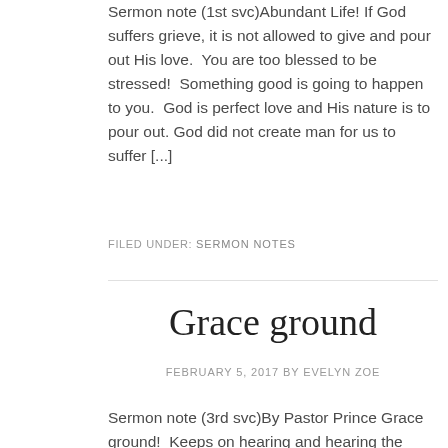Sermon note (1st svc)Abundant Life! If God suffers grieve, it is not allowed to give and pour out His love.  You are too blessed to be stressed!  Something good is going to happen to you.  God is perfect love and His nature is to pour out. God did not create man for us to suffer [...]
FILED UNDER: SERMON NOTES
Grace ground
FEBRUARY 5, 2017 BY EVELYN ZOE
Sermon note (3rd svc)By Pastor Prince Grace ground!  Keeps on hearing and hearing the Word of